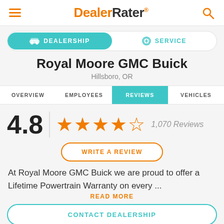DealerRater®
[Figure (screenshot): Tab toggle with DEALERSHIP (active, teal) and SERVICE options]
Royal Moore GMC Buick
Hillsboro, OR
[Figure (infographic): Navigation tabs: OVERVIEW, EMPLOYEES, REVIEWS (active), VEHICLES]
[Figure (infographic): Rating: 4.8 stars (5 orange stars, last half), 1,070 Reviews]
WRITE A REVIEW
At Royal Moore GMC Buick we are proud to offer a Lifetime Powertrain Warranty on every ...
READ MORE
CONTACT DEALERSHIP